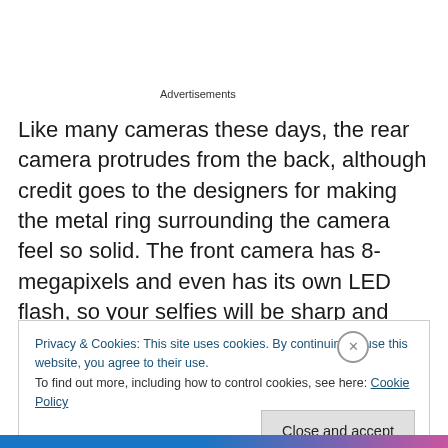Advertisements
Like many cameras these days, the rear camera protrudes from the back, although credit goes to the designers for making the metal ring surrounding the camera feel so solid. The front camera has 8-megapixels and even has its own LED flash, so your selfies will be sharp and brightly-lit regardless of where you are.
Privacy & Cookies: This site uses cookies. By continuing to use this website, you agree to their use.
To find out more, including how to control cookies, see here: Cookie Policy